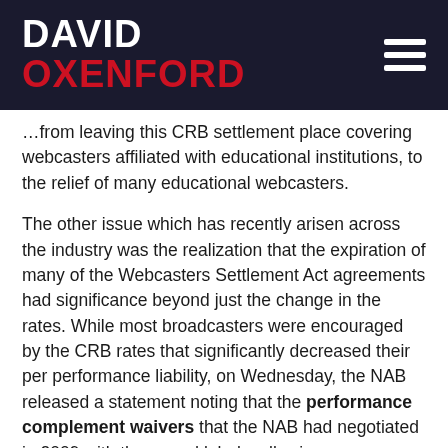DAVID OXENFORD
…from leaving this CRB settlement place covering webcasters affiliated with educational institutions, to the relief of many educational webcasters.
The other issue which has recently arisen across the industry was the realization that the expiration of many of the Webcasters Settlement Act agreements had significance beyond just the change in the rates. While most broadcasters were encouraged by the CRB rates that significantly decreased their per performance liability, on Wednesday, the NAB released a statement noting that the performance complement waivers that the NAB had negotiated in 2009 with the record labels, allowing broadcasters to simulcast their